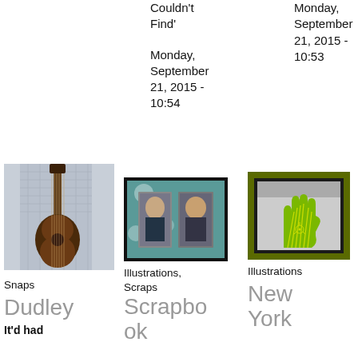Couldn't Find'
Monday, September 21, 2015 - 10:54
Monday, September 21, 2015 - 10:53
[Figure (photo): A guitar hanging on a wall]
Snaps
Dudley
It'd had
[Figure (photo): Two portrait photographs in a dark frame against a teal background]
Illustrations, Scraps
Scrapbook
[Figure (illustration): A framed illustration of a green hand with yellow lines on an olive/dark green background]
Illustrations
New York